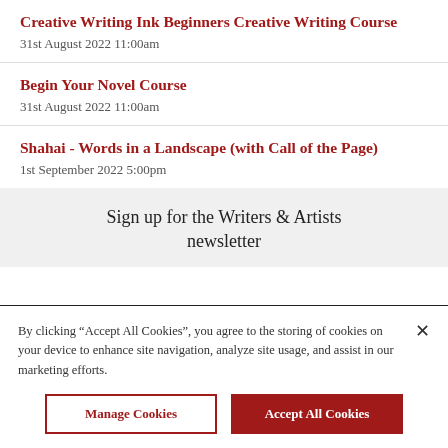Creative Writing Ink Beginners Creative Writing Course
31st August 2022 11:00am
Begin Your Novel Course
31st August 2022 11:00am
Shahai - Words in a Landscape (with Call of the Page)
1st September 2022 5:00pm
Sign up for the Writers & Artists newsletter
By clicking “Accept All Cookies”, you agree to the storing of cookies on your device to enhance site navigation, analyze site usage, and assist in our marketing efforts.